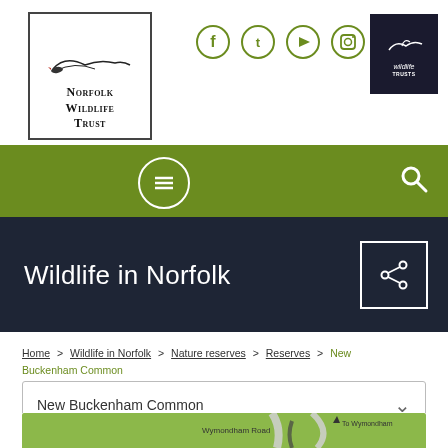[Figure (logo): Norfolk Wildlife Trust logo — bird silhouette above text 'Norfolk Wildlife Trust' in a bordered box]
[Figure (logo): Social media icons: Facebook, Twitter, YouTube, Instagram circles]
[Figure (logo): The Wildlife Trusts badge — dark background with bird and text]
[Figure (screenshot): Green navigation bar with hamburger menu circle button and search icon]
Wildlife in Norfolk
[Figure (other): Share icon button (square with share symbol) on dark background]
Home > Wildlife in Norfolk > Nature reserves > Reserves > New Buckenham Common
New Buckenham Common
[Figure (map): Partial map showing Wymondham Road and To Wymondham label on green background]